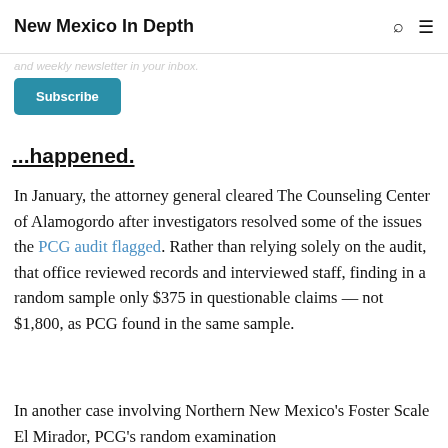New Mexico In Depth
...and weekly newsletter in your inbox.
Subscribe
...happened.
In January, the attorney general cleared The Counseling Center of Alamogordo after investigators resolved some of the issues the PCG audit flagged. Rather than relying solely on the audit, that office reviewed records and interviewed staff, finding in a random sample only $375 in questionable claims — not $1,800, as PCG found in the same sample.
In another case involving Northern New Mexico's Foster Scale El Mirador, PCG's random examination...